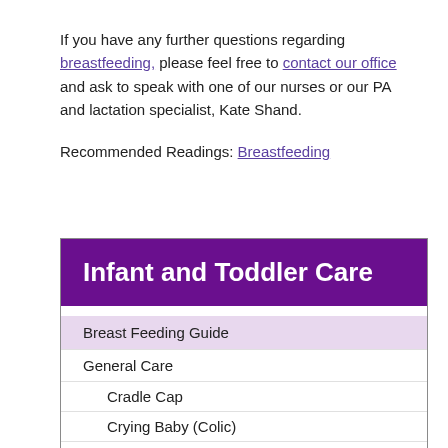If you have any further questions regarding breastfeeding, please feel free to contact our office and ask to speak with one of our nurses or our PA and lactation specialist, Kate Shand.
Recommended Readings: Breastfeeding
Infant and Toddler Care
Breast Feeding Guide
General Care
Cradle Cap
Crying Baby (Colic)
Diaper Rash
Infant Sleep Positions(SIDS)
Newborn Appearance And Behavior
Newborn Rashes And Birthmarks